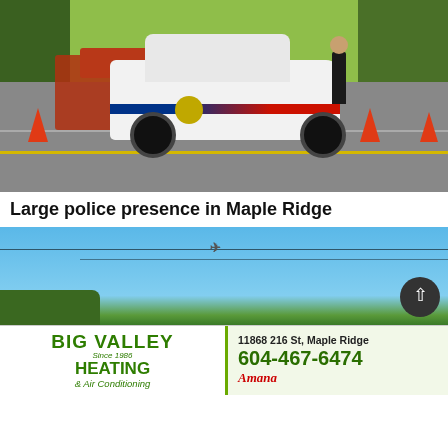[Figure (photo): RCMP police SUV with officer standing beside it on a road blocked with orange traffic cones. Trees in background, fire truck visible behind. Road has yellow and white markings.]
Large police presence in Maple Ridge
[Figure (photo): Blue sky with utility wires and a small aircraft visible. Trees in lower left. Back-to-top button in lower right.]
[Figure (other): Advertisement for Big Valley Heating & Air Conditioning. Address: 11868 216 St, Maple Ridge. Phone: 604-467-6474. Amana brand logo.]